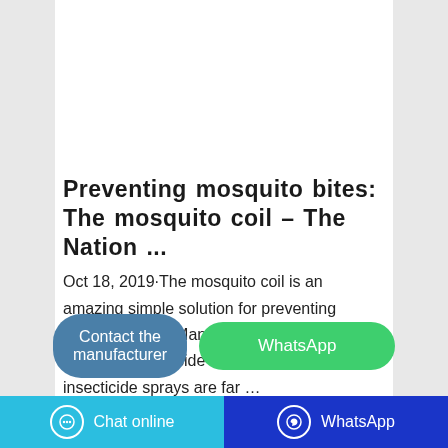[Figure (photo): Product image of a mosquito coil box (green and yellow packaging) on a white background with reflection]
Preventing mosquito bites: The mosquito coil – The Nation ...
Oct 18, 2019·The mosquito coil is an amazing simple solution for preventing mosquito bites. Many people prefer them to chemical insecticide sprays. Chemical insecticide sprays are far …
Contact the manufacturer
WhatsApp
Chat online | WhatsApp